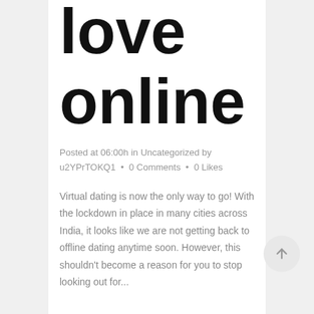love online
Posted at 06:00h in Uncategorized by u2YPrTOKQ1 • 0 Comments • 0 Likes
Virtual dating is now the only way to go! With the lockdown in place in many cities across India, it looks like we are not getting back to offline dating anytime soon. However, this shouldn't become a reason for you to stop looking out for...